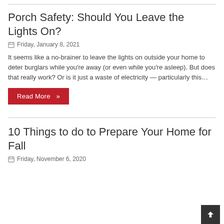Porch Safety: Should You Leave the Lights On?
Friday, January 8, 2021
It seems like a no-brainer to leave the lights on outside your home to deter burglars while you’re away (or even while you’re asleep). But does that really work? Or is it just a waste of electricity — particularly this…
Read More »
10 Things to do to Prepare Your Home for Fall
Friday, November 6, 2020